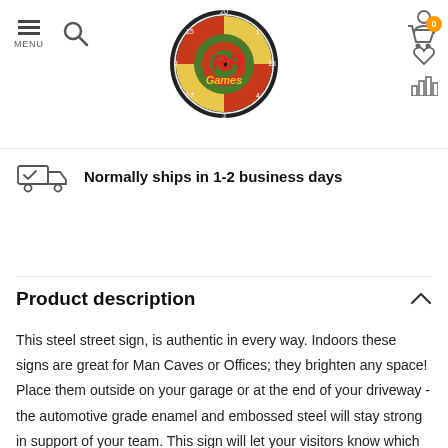RR Games logo, menu, search, account, wishlist, cart, chart icons
Normally ships in 1-2 business days
Product description
This steel street sign, is authentic in every way. Indoors these signs are great for Man Caves or Offices; they brighten any space! Place them outside on your garage or at the end of your driveway - the automotive grade enamel and embossed steel will stay strong in support of your team. This sign will let your visitors know which team is #1 in your book as soon as they see it hanging in your garage, home, or office! It features 18 gauge heavy-duty steel, made in the same process that was used by municipalities. It's durable with quality team colors and graphics that will really set the tone wherever you place it. There are multiple versions for many teams...